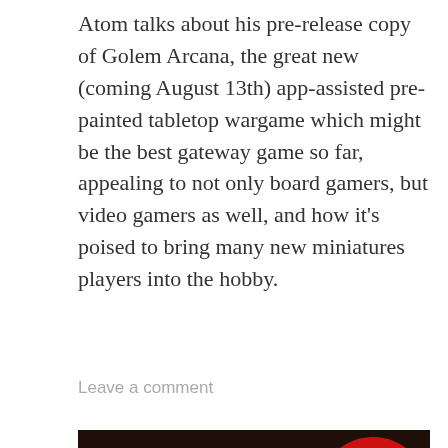Atom talks about his pre-release copy of Golem Arcana, the great new (coming August 13th) app-assisted pre-painted tabletop wargame which might be the best gateway game so far, appealing to not only board gamers, but video gamers as well, and how it's poised to bring many new miniatures players into the hobby.
Leave a comment
[Figure (photo): Close-up photo of a green lizard/iguana head against a dark background, with a Tabletop Minions logo (red splash with white 'TM' letters and text 'TABLETOP MINIONS') in the upper right. Bold white text overlaid at the bottom reads 'PAINT MINIATURES WITH PHOTO REFERENCE'.]